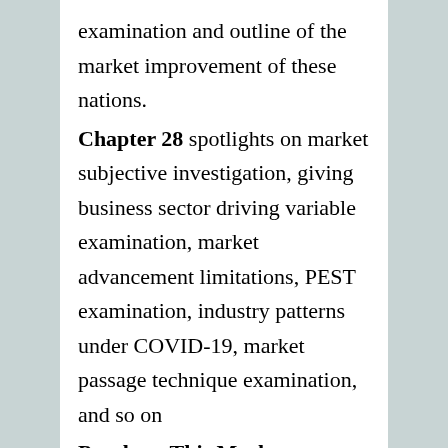examination and outline of the market improvement of these nations.
Chapter 28 spotlights on market subjective investigation, giving business sector driving variable examination, market advancement limitations, PEST examination, industry patterns under COVID-19, market passage technique examination, and so on
Purchase This Market Research Report Now @
https://martresearch.com/paymentform/13/93258/Single_User?utm_source=Tanjila
The research report has addresses several questions related to the growth of the global Carbide Grit Hole Saws market. Some of them